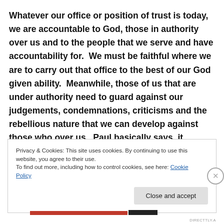Whatever our office or position of trust is today, we are accountable to God, those in authority over us and to the people that we serve and have accountability for.  We must be faithful where we are to carry out that office to the best of our God given ability.  Meanwhile, those of us that are under authority need to guard against our judgements, condemnations, criticisms and the rebellious nature that we can develop against those who over us.  Paul basically says, it doesn't matter what you think or even what I think, what
Privacy & Cookies: This site uses cookies. By continuing to use this website, you agree to their use.
To find out more, including how to control cookies, see here: Cookie Policy
Close and accept
DIRECTTLY.A